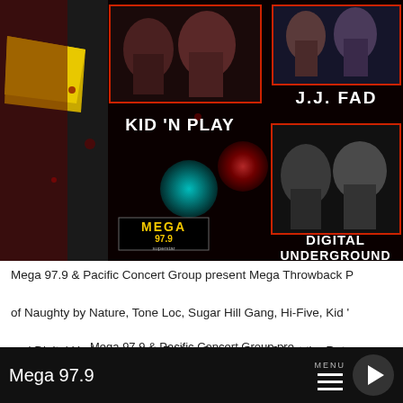[Figure (photo): Concert promotional image for Mega 97.9 Throwback Party featuring Kid 'N Play, J.J. Fad, and Digital Underground. Dark background with red particle effects, teal and red glowing orbs. Left side has yellow/gray geometric shape. Artist photos shown in red-bordered boxes.]
Mega 97.9 & Pacific Concert Group present Mega Throwback Party featuring Naughty by Nature, Tone Loc, Sugar Hill Gang, Hi-Five, Kid 'N Play, J.J. Fad and Digital Underground on Friday, September 16th at the Rota…Woodward Park in Fresno, CA. Must be 21 years or older to a…
Mega 97.9 & Pacific Concert Group pre…
Mega 97.9 Throwback Party Jam…
Mega 97.9